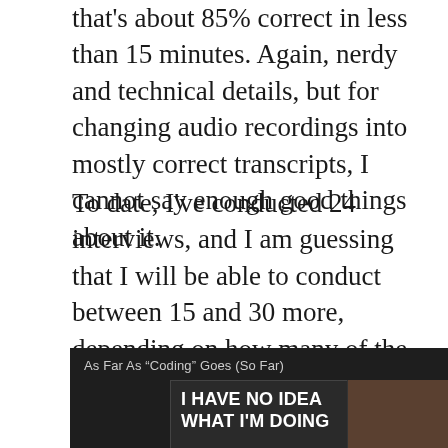that's about 85% correct in less than 15 minutes. Again, nerdy and technical details, but for changing audio recordings into mostly correct transcripts, I cannot say enough good things about it.
To date, I've conducted 24 interviews, and I am guessing that I will be able to conduct between 15 and 30 more, depending on how many of the folks who originally volunteered to be interviewed are still willing.
[Figure (screenshot): Dark-background image with label 'As Far As "Coding" Goes (So Far)' and a meme showing a dog at a desk with text 'I HAVE NO IDEA WHAT I'M DOING']